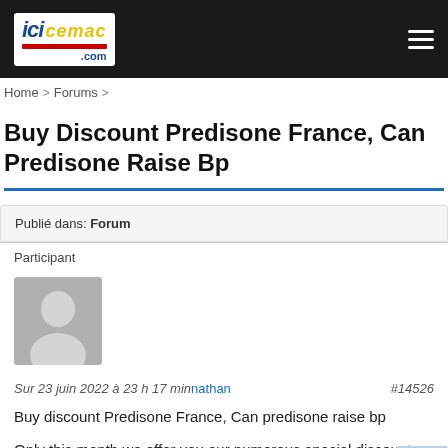ici cemac .com
Home > Forums >
Buy Discount Predisone France, Can Predisone Raise Bp
Publié dans: Forum
Participant
[Figure (photo): Default user avatar placeholder (grey silhouette icon)]
Sur 23 juin 2022 à 23 h 17 min nathan #14526
Buy discount Predisone France, Can predisone raise bp

Only this month we offer you our numerous special discounts that will save your budget.